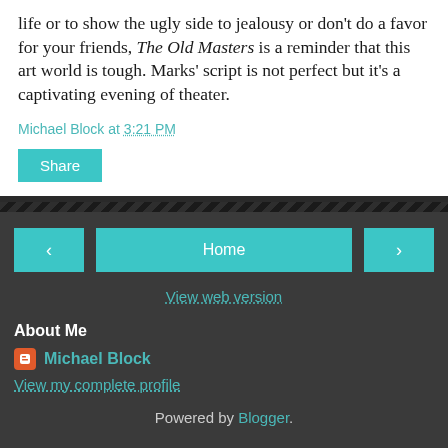life or to show the ugly side to jealousy or don't do a favor for your friends, The Old Masters is a reminder that this art world is tough. Marks' script is not perfect but it's a captivating evening of theater.
Michael Block at 3:21 PM
Share
Home
View web version
About Me
Michael Block
View my complete profile
Powered by Blogger.